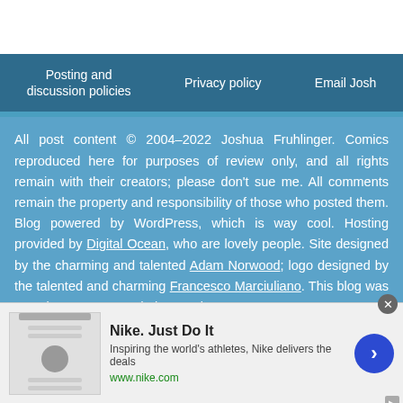Posting and discussion policies | Privacy policy | Email Josh
All post content © 2004–2022 Joshua Fruhlinger. Comics reproduced here for purposes of review only, and all rights remain with their creators; please don't sue me. All comments remain the property and responsibility of those who posted them. Blog powered by WordPress, which is way cool. Hosting provided by Digital Ocean, who are lovely people. Site designed by the charming and talented Adam Norwood; logo designed by the talented and charming Francesco Marciuliano. This blog was once known as I Read The Comics So...
[Figure (screenshot): Nike advertisement banner: 'Nike. Just Do It' with tagline 'Inspiring the world's athletes, Nike delivers the deals' and url www.nike.com, with a blue circular arrow button and close button.]